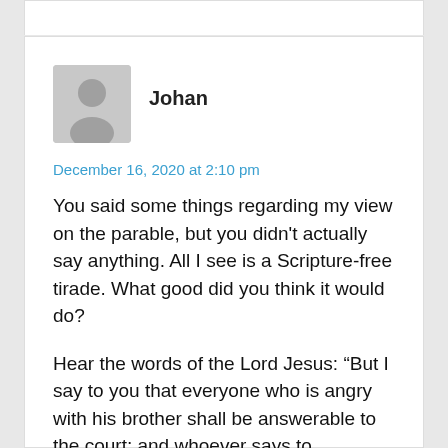Johan
December 16, 2020 at 2:10 pm
You said some things regarding my view on the parable, but you didn't actually say anything. All I see is a Scripture-free tirade. What good did you think it would do?
Hear the words of the Lord Jesus: “But I say to you that everyone who is angry with his brother shall be answerable to the court; and whoever says to